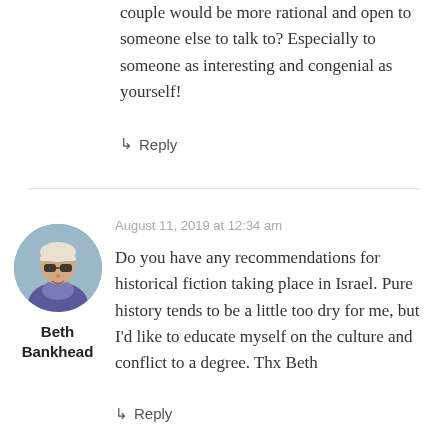couple would be more rational and open to someone else to talk to? Especially to someone as interesting and congenial as yourself!
↳ Reply
[Figure (photo): Circular avatar photo of Beth Bankhead, a woman wearing sunglasses and a white visor, dressed in a purple top, outdoors]
Beth Bankhead
August 11, 2019 at 12:34 am
Do you have any recommendations for historical fiction taking place in Israel. Pure history tends to be a little too dry for me, but I'd like to educate myself on the culture and conflict to a degree. Thx Beth
↳ Reply